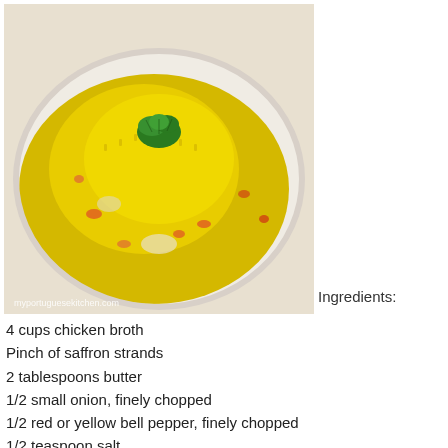[Figure (photo): A plate of yellow saffron rice with red peppers and vegetables, garnished with parsley. Watermark reads myportuguesekitchen.com]
Ingredients:
4 cups chicken broth
Pinch of saffron strands
2 tablespoons butter
1/2 small onion, finely chopped
1/2 red or yellow bell pepper, finely chopped
1/2 teaspoon salt
2 cups long grain rice